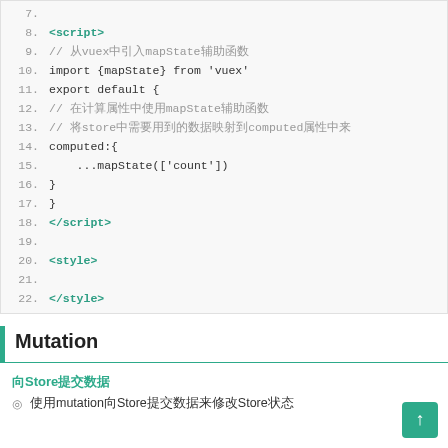[Figure (screenshot): Code editor showing lines 7-22 of a Vue component file with script and style tags, mapState import, computed property using spread operator, written in monospace font on light background]
Mutation
向Store提交数据
使用mutation向Store提交数据来修改Store状态